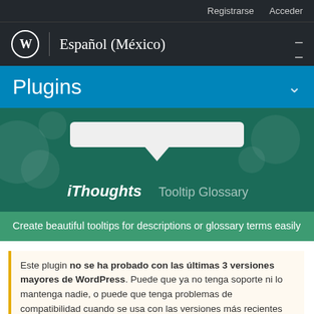Registrarse   Acceder
Español (México)
Plugins
[Figure (screenshot): Plugin hero banner showing iThoughts Tooltip Glossary plugin with a tooltip UI mockup on a dark green background]
Create beautiful tooltips for descriptions or glossary terms easily
Este plugin no se ha probado con las últimas 3 versiones mayores de WordPress. Puede que ya no tenga soporte ni lo mantenga nadie, o puede que tenga problemas de compatibilidad cuando se usa con las versiones más recientes de WordPress.